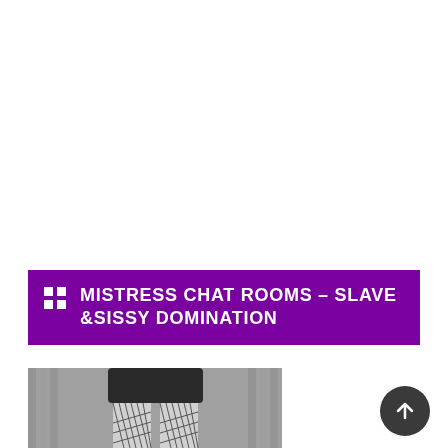MISTRESS CHAT ROOMS – SLAVE &SISSY DOMINATION
[Figure (photo): Black and white photo showing the lower body of a person wearing a black leather skirt and fishnet stockings, seated against a curtained background.]